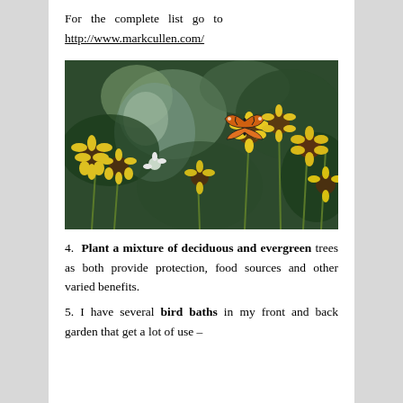For the complete list go to http://www.markcullen.com/
[Figure (photo): A monarch butterfly perched on a yellow black-eyed Susan flower, surrounded by more yellow flowers and green foliage in a garden setting.]
4. Plant a mixture of deciduous and evergreen trees as both provide protection, food sources and other varied benefits.
5. I have several bird baths in my front and back garden that get a lot of use –